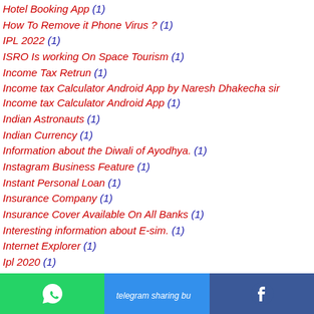Hotel Booking App (1)
How To Remove it Phone Virus ? (1)
IPL 2022 (1)
ISRO Is working On Space Tourism (1)
Income Tax Retrun (1)
Income tax Calculator Android App by Naresh Dhakecha sir Income tax Calculator Android App (1)
Indian Astronauts (1)
Indian Currency (1)
Information about the Diwali of Ayodhya. (1)
Instagram Business Feature (1)
Instant Personal Loan (1)
Insurance Company (1)
Insurance Cover Available On All Banks (1)
Interesting information about E-sim. (1)
Internet Explorer (1)
Ipl 2020 (1)
[Figure (other): Footer sharing bar with WhatsApp, Telegram, and Facebook buttons]